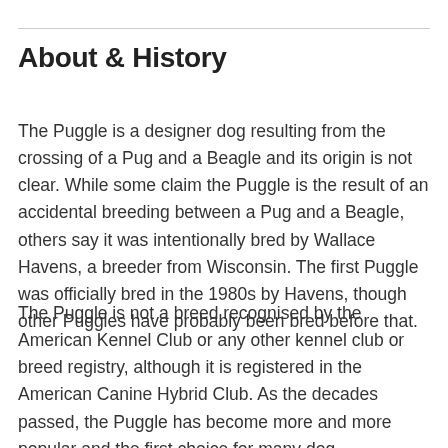About & History
The Puggle is a designer dog resulting from the crossing of a Pug and a Beagle and its origin is not clear. While some claim the Puggle is the result of an accidental breeding between a Pug and a Beagle, others say it was intentionally bred by Wallace Havens, a breeder from Wisconsin. The first Puggle was officially bred in the 1980s by Havens, though other Puggles have probably been bred before that.
The Puggle is not a breed recognised by the American Kennel Club or any other kennel club or breed registry, although it is registered in the American Canine Hybrid Club. As the decades passed, the Puggle has become more and more popular and the first choice for many dog